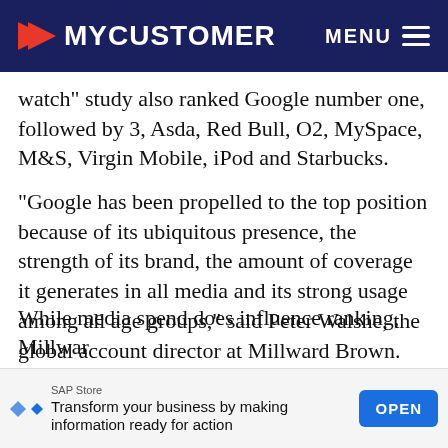MYCUSTOMER
watch" study also ranked Google number one, followed by 3, Asda, Red Bull, O2, MySpace, M&S, Virgin Mobile, iPod and Starbucks.
"Google has been propelled to the top position because of its ubiquitous presence, the strength of its brand, the amount of coverage it generates in all media and its strong usage among all age groups," said Peter Walshe, the global account director at Millward Brown.
While media spend does influence ranking, Millwar
SAP Store
Transform your business by making information ready for action